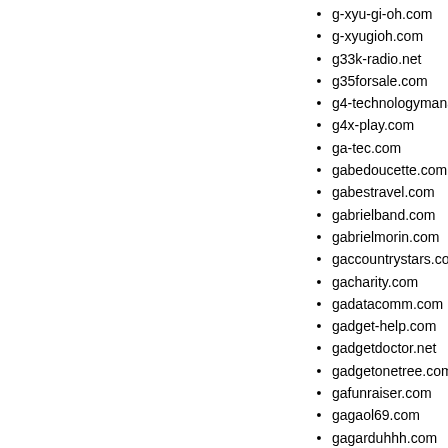g-xyu-gi-oh.com
g-xyugioh.com
g33k-radio.net
g35forsale.com
g4-technologymanagement.c
g4x-play.com
ga-tec.com
gabedoucette.com
gabestravel.com
gabrielband.com
gabrielmorin.com
gaccountrystars.com
gacharity.com
gadatacomm.com
gadget-help.com
gadgetdoctor.net
gadgetonetree.com
gafunraiser.com
gagaol69.com
gagarduhhh.com
gagutime.com
gagutime.net
gahockey.com
gahomesontour.com
gailrifflard.net
gainesvillecosmeticdentist.c
gainfan.com
gal-tek.com